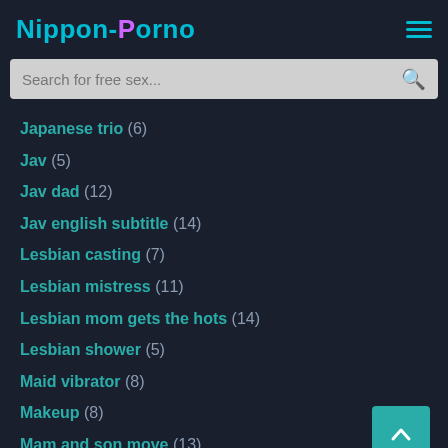Nippon-Porno
Japanese trio (6)
Jav (5)
Jav dad (12)
Jav english subtitle (14)
Lesbian casting (7)
Lesbian mistress (11)
Lesbian mom gets the hots (14)
Lesbian shower (5)
Maid vibrator (8)
Makeup (8)
Mam and son move (13)
Miho ichiko with son (8)
Mother and daughter (9)